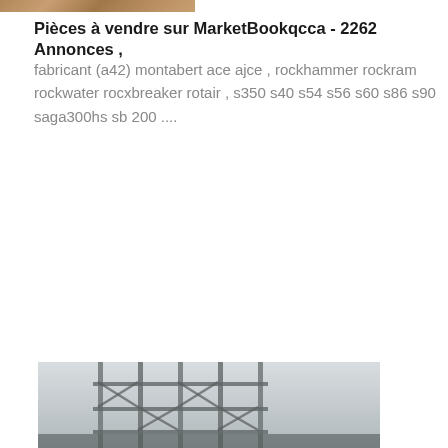[Figure (photo): Partial cropped photo at top of page, showing what appears to be a textured brown/tan surface (possibly machinery or equipment parts)]
Pièces à vendre sur MarketBookqcca - 2262 Annonces ,
fabricant (a42) montabert ace ajce , rockhammer rockram rockwater rocxbreaker rotair , s350 s40 s54 s56 s60 s86 s90 saga300hs sb 200 ....
[Figure (photo): Partial photo at bottom of page showing industrial scaffolding or structural steel framework, appears to be a construction or industrial site]